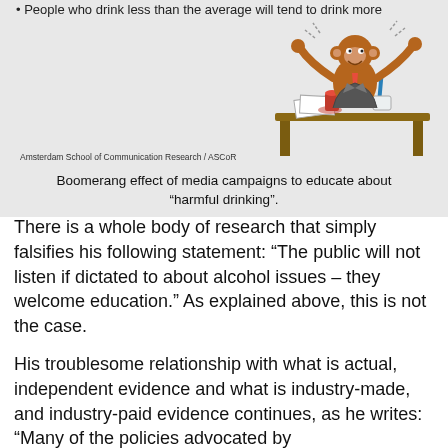[Figure (illustration): Slide from Amsterdam School of Communication Research / ASCoR showing a bullet point about people who drink less than the average will tend to drink more, with a cartoon illustration of a chaotic monkey at a desk. Caption reads: Boomerang effect of media campaigns to educate about 'harmful drinking'.]
Boomerang effect of media campaigns to educate about “harmful drinking”.
There is a whole body of research that simply falsifies his following statement: “The public will not listen if dictated to about alcohol issues – they welcome education.” As explained above, this is not the case.
His troublesome relationship with what is actual, independent evidence and what is industry-made, and industry-paid evidence continues, as he writes: “Many of the policies advocated by